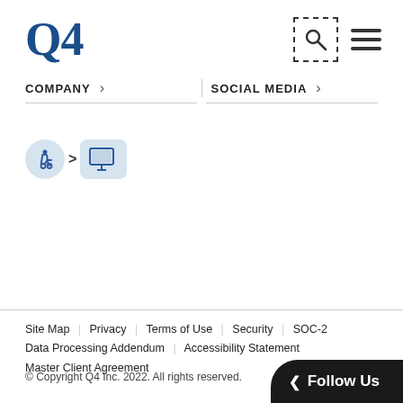[Figure (logo): Q4 logo in dark blue serif font]
[Figure (other): Search icon in dashed border box and hamburger menu icon]
COMPANY >
SOCIAL MEDIA >
[Figure (other): Accessibility widget: wheelchair icon circle, right arrow, monitor icon circle]
Site Map | Privacy | Terms of Use | Security | SOC-2 | Data Processing Addendum | Accessibility Statement | Master Client Agreement
© Copyright Q4 Inc. 2022. All rights reserved.
[Figure (other): Follow Us button (dark pill/rounded rectangle) with left chevron]